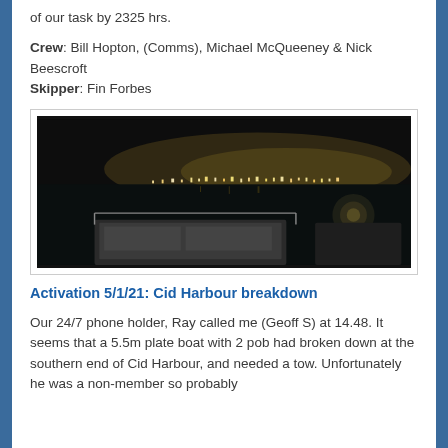of our task by 2325 hrs.
Crew: Bill Hopton, (Comms), Michael McQueeney & Nick Beescroft
Skipper: Fin Forbes
[Figure (photo): Nighttime photo taken from the deck of a rescue boat showing distant city lights across dark water, with the boat's console/helm area visible in the foreground.]
Activation 5/1/21: Cid Harbour breakdown
Our 24/7 phone holder, Ray called me (Geoff S) at 14.48. It seems that a 5.5m plate boat with 2 pob had broken down at the southern end of Cid Harbour, and needed a tow. Unfortunately he was a non-member so probably